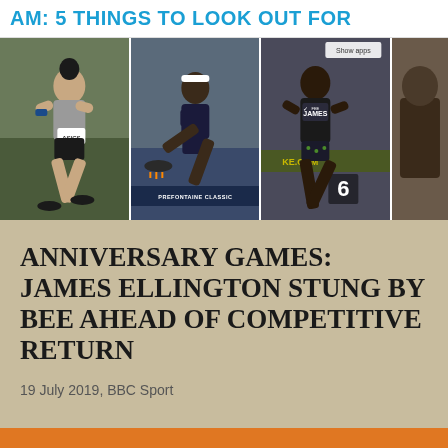AM: 5 THINGS TO LOOK OUT FOR
[Figure (photo): Three panel photo strip showing track and field athletes: left panel shows a female sprinter in starting position wearing ASICS gear, middle panel shows a female hurdler (Kendra Harrison) at Prefontaine Classic, right panel shows a male sprinter (James) wearing Nike gear with number 6]
ANNIVERSARY GAMES: JAMES ELLINGTON STUNG BY BEE AHEAD OF COMPETITIVE RETURN
19 July 2019,  BBC Sport